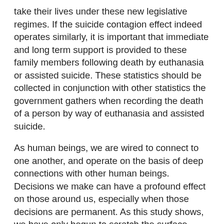take their lives under these new legislative regimes. If the suicide contagion effect indeed operates similarly, it is important that immediate and long term support is provided to these family members following death by euthanasia or assisted suicide. These statistics should be collected in conjunction with other statistics the government gathers when recording the death of a person by way of euthanasia and assisted suicide.
As human beings, we are wired to connect to one another, and operate on the basis of deep connections with other human beings. Decisions we make can have a profound effect on those around us, especially when those decisions are permanent. As this study shows, we have only begun to scratch the surface when it comes to understanding the long term impacts of legalising euthanasia and assisted suicide.
If you or someone you know needs assistance phone Lifeline Australia on 13 11 14.